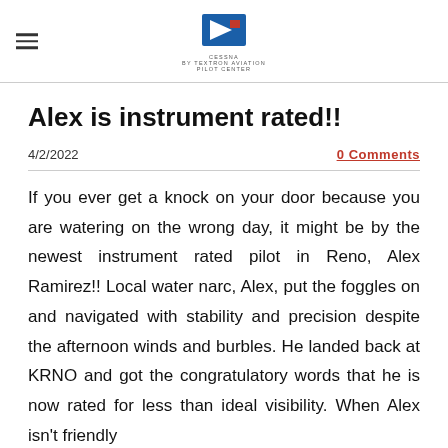Cessna by Textron Aviation Pilot Center
Alex is instrument rated!!
4/2/2022
0 Comments
If you ever get a knock on your door because you are watering on the wrong day, it might be by the newest instrument rated pilot in Reno, Alex Ramirez!! Local water narc, Alex, put the foggles on and navigated with stability and precision despite the afternoon winds and burbles. He landed back at KRNO and got the congratulatory words that he is now rated for less than ideal visibility. When Alex isn't friendly